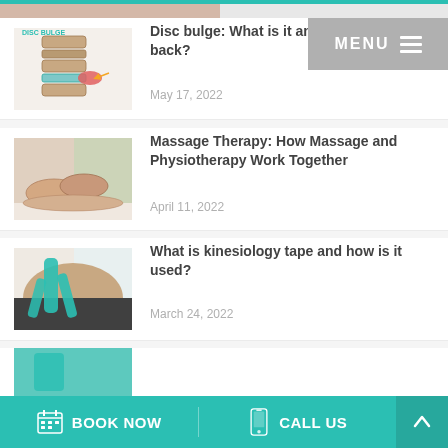[Figure (screenshot): Top crop bar with teal accent line]
[Figure (screenshot): Menu button in top right corner with MENU text and hamburger icon]
[Figure (illustration): Disc Bulge medical illustration showing spinal vertebrae with bulging disc]
Disc bulge: What is it and will it come back?
May 17, 2022
[Figure (photo): Massage therapy photo showing hands performing massage on a person's back]
Massage Therapy: How Massage and Physiotherapy Work Together
April 11, 2022
[Figure (photo): Photo of kinesiology tape applied to a person's shoulder/knee area in teal color]
What is kinesiology tape and how is it used?
March 24, 2022
BOOK NOW   CALL US